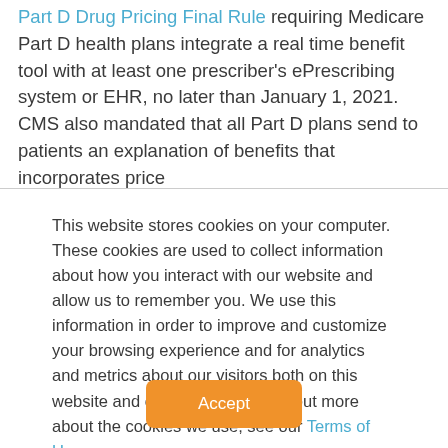Part D Drug Pricing Final Rule requiring Medicare Part D health plans integrate a real time benefit tool with at least one prescriber's ePrescribing system or EHR, no later than January 1, 2021. CMS also mandated that all Part D plans send to patients an explanation of benefits that incorporates price
This website stores cookies on your computer. These cookies are used to collect information about how you interact with our website and allow us to remember you. We use this information in order to improve and customize your browsing experience and for analytics and metrics about our visitors both on this website and other media. To find out more about the cookies we use, see our Terms of Use.